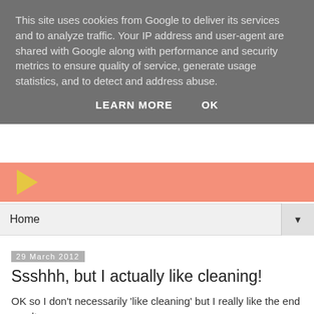This site uses cookies from Google to deliver its services and to analyze traffic. Your IP address and user-agent are shared with Google along with performance and security metrics to ensure quality of service, generate usage statistics, and to detect and address abuse.
LEARN MORE   OK
[Figure (other): Pink/salmon colored strip with a yellow play button arrow]
Home ▼
29 March 2012
Ssshhh, but I actually like cleaning!
OK so I don't necessarily 'like cleaning' but I really like the end result.
I love seeing a nice clean worktop with everything in it's place and no clutter.